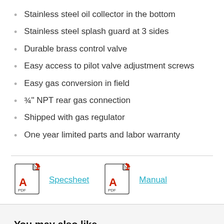Stainless steel oil collector in the bottom
Stainless steel splash guard at 3 sides
Durable brass control valve
Easy access to pilot valve adjustment screws
Easy gas conversion in field
¾" NPT rear gas connection
Shipped with gas regulator
One year limited parts and labor warranty
[Figure (other): PDF icon with download arrow for Specsheet link]
Specsheet
[Figure (other): PDF icon with download arrow for Manual link]
Manual
You may also like